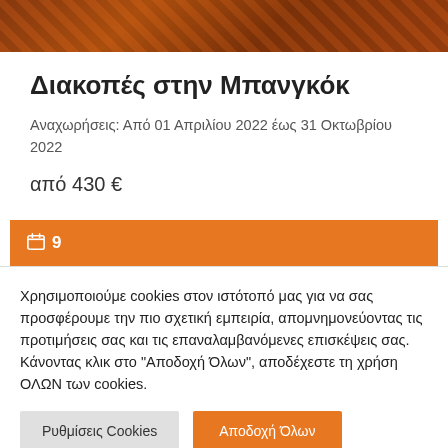[Figure (photo): Dark orange/brown textured background image, possibly of a Buddhist temple or decorative surface]
Διακοπές στην Μπανγκόκ
Αναχωρήσεις: Από 01 Απριλίου 2022 έως 31 Οκτωβρίου 2022
από 430 €
[Figure (other): Orange bar with calendar icon and number 9]
Χρησιμοποιούμε cookies στον ιστότοπό μας για να σας προσφέρουμε την πιο σχετική εμπειρία, απομνημονεύοντας τις προτιμήσεις σας και τις επαναλαμβανόμενες επισκέψεις σας. Κάνοντας κλικ στο "Αποδοχή Όλων", αποδέχεστε τη χρήση ΟΛΩΝ των cookies.
Ρυθμίσεις Cookies
Αποδοχή Όλων